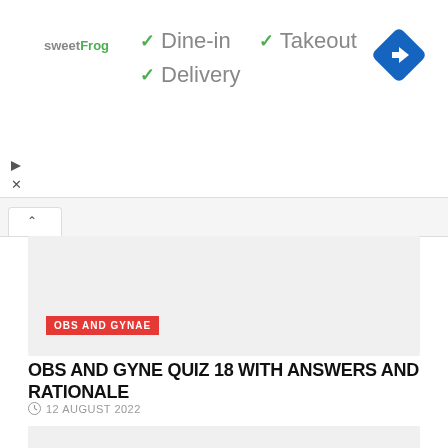[Figure (screenshot): Advertisement banner for sweetFrog with Dine-in, Takeout, and Delivery checkmarks and a navigation diamond icon]
OBS AND GYNAE
OBS AND GYNE QUIZ 18 WITH ANSWERS AND RATIONALE
12 AUGUST 2022
[Figure (photo): Gray placeholder image area at bottom of page]